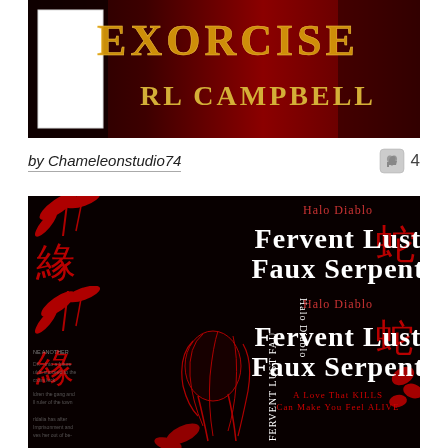[Figure (photo): Book cover image showing dark red and black design with title text partially visible at top: 'EXORCISE' and 'RL CAMPBELL', with a white rectangle inset on left side]
by Chameleonstudio74
4
[Figure (photo): Book cover for 'Fervent Lust Faux Serpent' by Halo Diablo. Dark black background with red illustrated woman figure, red Asian botanical/floral motifs, Chinese characters, and subtitle text: 'A Love That KILLS Can Make You Feel ALIVE']